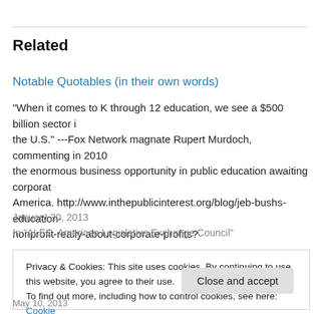Related
Notable Quotables (in their own words)
"When it comes to K through 12 education, we see a $500 billion sector i the U.S." ---Fox Network magnate Rupert Murdoch, commenting in 2010 the enormous business opportunity in public education awaiting corporat America. http://www.inthepublicinterest.org/blog/jeb-bushs-education-nonprofit-really-about-corporate-profits?
January 30, 2013
In "ALEC, American Legislative Exchange Council"
Privacy & Cookies: This site uses cookies. By continuing to use this website, you agree to their use. To find out more, including how to control cookies, see here: Cookie Policy
Close and accept
May 10, 2013